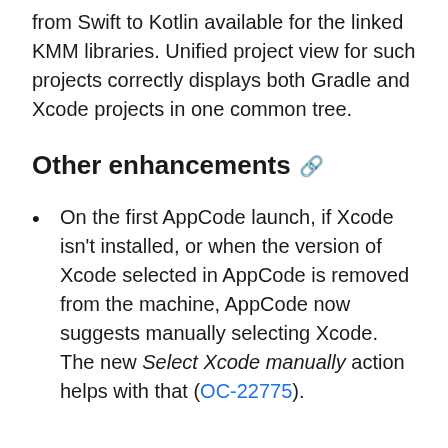from Swift to Kotlin available for the linked KMM libraries. Unified project view for such projects correctly displays both Gradle and Xcode projects in one common tree.
Other enhancements 🔗
On the first AppCode launch, if Xcode isn't installed, or when the version of Xcode selected in AppCode is removed from the machine, AppCode now suggests manually selecting Xcode. The new Select Xcode manually action helps with that (OC-22775).